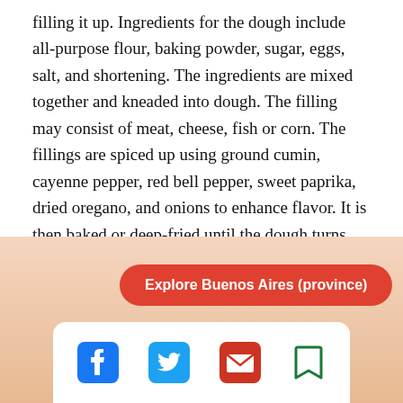filling it up. Ingredients for the dough include all-purpose flour, baking powder, sugar, eggs, salt, and shortening. The ingredients are mixed together and kneaded into dough. The filling may consist of meat, cheese, fish or corn. The fillings are spiced up using ground cumin, cayenne pepper, red bell pepper, sweet paprika, dried oregano, and onions to enhance flavor. It is then baked or deep-fried until the dough turns golden brown. Empanadas are served during parties as a starter or main course.
2. Bondiola (pork meat and fat from the pig's shoulder)
[Figure (other): Red rounded button reading 'Explore Buenos Aires (province)' on a warm peach/orange gradient background, with a social media share bar at the bottom containing Facebook, Twitter, email, and bookmark icons.]